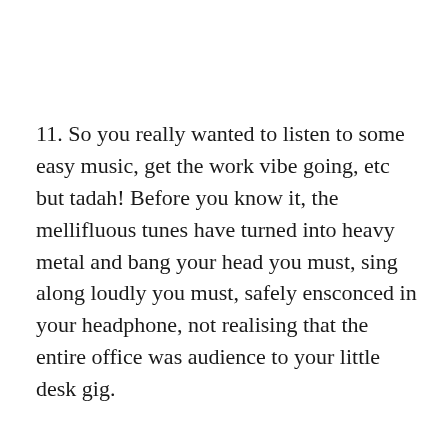11. So you really wanted to listen to some easy music, get the work vibe going, etc but tadah! Before you know it, the mellifluous tunes have turned into heavy metal and bang your head you must, sing along loudly you must, safely ensconced in your headphone, not realising that the entire office was audience to your little desk gig.